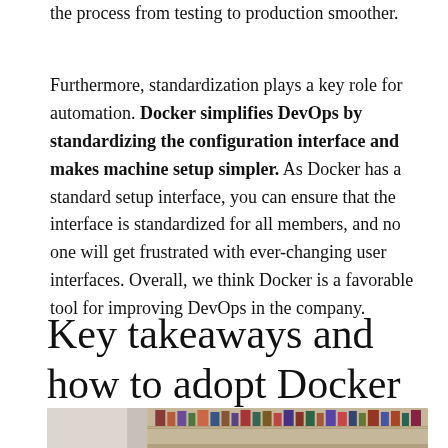the process from testing to production smoother.
Furthermore, standardization plays a key role for automation. Docker simplifies DevOps by standardizing the configuration interface and makes machine setup simpler. As Docker has a standard setup interface, you can ensure that the interface is standardized for all members, and no one will get frustrated with ever-changing user interfaces. Overall, we think Docker is a favorable tool for improving DevOps in the company.
Key takeaways and how to adopt Docker
[Figure (photo): Photo of a bookshelf with books, bottom of image visible]